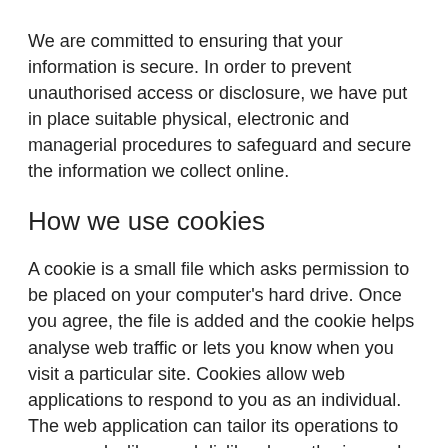We are committed to ensuring that your information is secure. In order to prevent unauthorised access or disclosure, we have put in place suitable physical, electronic and managerial procedures to safeguard and secure the information we collect online.
How we use cookies
A cookie is a small file which asks permission to be placed on your computer's hard drive. Once you agree, the file is added and the cookie helps analyse web traffic or lets you know when you visit a particular site. Cookies allow web applications to respond to you as an individual. The web application can tailor its operations to your needs, likes and dislikes by gathering and remembering information about your preferences.
We use traffic log cookies to identify which pages are being used. This helps us analyse data about web page traffic and improve our website in order to tailor it to customer needs. We only use this information for statistical analysis purposes and then the data is removed from the system.